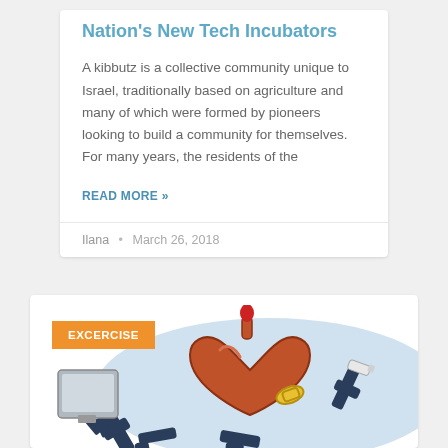Nation's New Tech Incubators
A kibbutz is a collective community unique to Israel, traditionally based on agriculture and many of which were formed by pioneers looking to build a community for themselves. For many years, the residents of the
READ MORE »
Ilana · March 26, 2018
EXCERCISE
[Figure (illustration): Cartoon illustration of a stylized human heart with medical/technological equipment attached including robotic arms, cables, and devices, on a light blue background]